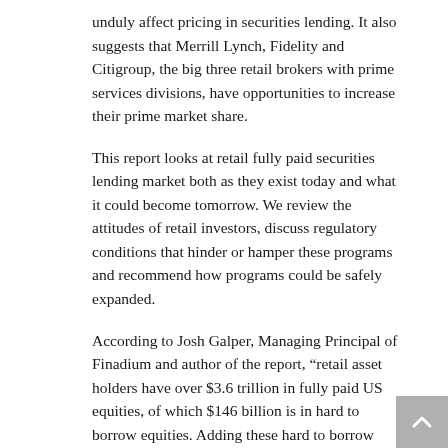unduly affect pricing in securities lending. It also suggests that Merrill Lynch, Fidelity and Citigroup, the big three retail brokers with prime services divisions, have opportunities to increase their prime market share.
This report looks at retail fully paid securities lending market both as they exist today and what it could become tomorrow. We review the attitudes of retail investors, discuss regulatory conditions that hinder or hamper these programs and recommend how programs could be safely expanded.
According to Josh Galper, Managing Principal of Finadium and author of the report, “retail asset holders have over $3.6 trillion in fully paid US equities, of which $146 billion is in hard to borrow equities. Adding these hard to borrow assets to the pool of outstanding US equity securities loans would increase supply by 20%, which would come just in time as hedge funds and 130/30 managers are increasing demand. Without new supply, costs for short sellers will